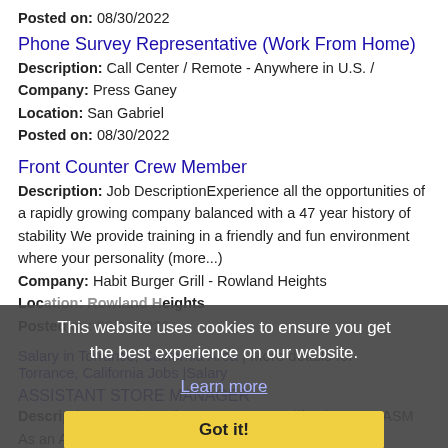Posted on: 08/30/2022
Phone Survey Representative (Work From Home)
Description: Call Center / Remote - Anywhere in U.S. /
Company: Press Ganey
Location: San Gabriel
Posted on: 08/30/2022
Front Counter Crew Member
Description: Job DescriptionExperience all the opportunities of a rapidly growing company balanced with a 47 year history of stability We provide training in a friendly and fun environment where your personality (more...)
Company: Habit Burger Grill - Rowland Heights
Location: ...
Posted on: 08/30/2022
This website uses cookies to ensure you get the best experience on our website. Learn more Got it!
Salary in Torrance, California Area | More details for Torrance, California Jobs |Salary
ASSISTANT STORE MANAGER
Description: Family Dollar, Inc - 12350 California Street ASM As an Assistant
Company: Family Dollar, Inc.